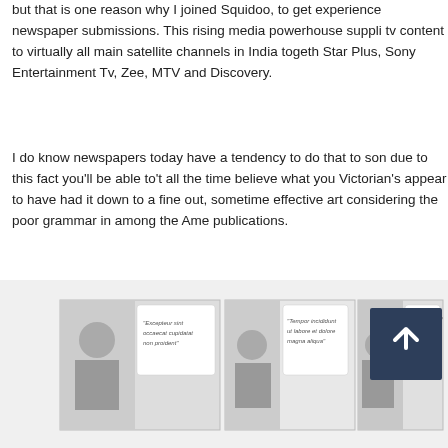but that is one reason why I joined Squidoo, to get experience newspaper submissions. This rising media powerhouse suppli tv content to virtually all main satellite channels in India togeth Star Plus, Sony Entertainment Tv, Zee, MTV and Discovery.
I do know newspapers today have a tendency to do that to son due to this fact you'll be able to't all the time believe what you Victorian's appear to have had it down to a fine out, sometime effective art considering the poor grammar in among the Ame publications.
[Figure (illustration): A partially visible comic-strip or storyboard style image showing panels with illustrated characters and placeholder lorem ipsum text quotations including 'Excepteur sint occaecat cupidatat non proident', 'Tempor incididunt ut labore et dolore magna aliqua', and 'Duis aute irun dolor in agra hendet'. A dark blue square with a white upward-pointing chevron/arrow is overlaid on the right side.]